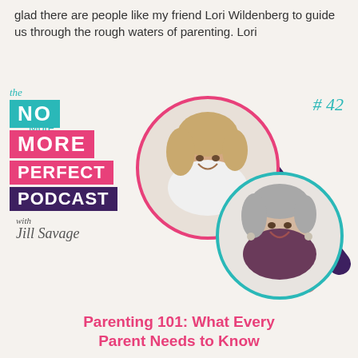glad there are people like my friend Lori Wildenberg to guide us through the rough waters of parenting. Lori
Read More »
[Figure (logo): The No More Perfect Podcast with Jill Savage logo — stacked colored word blocks in teal, pink, and purple]
# 42
[Figure (photo): Two circular portrait photos of women overlapping, with diagonal stripe decorations. Top-left: woman with blonde hair in white blouse. Bottom-right: woman with short gray hair smiling.]
Parenting 101: What Every Parent Needs to Know